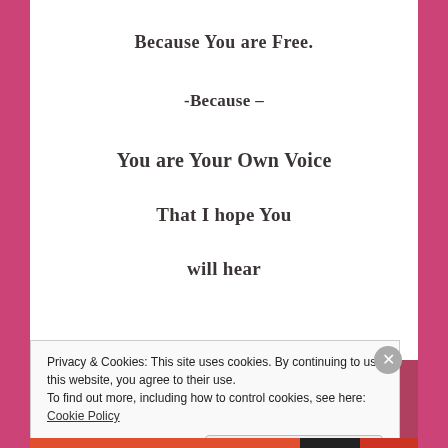Because You are Free.
-Because –
You are Your Own Voice
That I hope You
will hear
Privacy & Cookies: This site uses cookies. By continuing to use this website, you agree to their use.
To find out more, including how to control cookies, see here: Cookie Policy
Close and accept